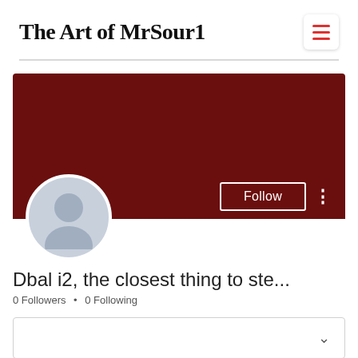The Art of MrSour1
[Figure (screenshot): User profile banner in dark red/maroon color with Follow button and three-dots menu on the right side]
[Figure (illustration): Default user avatar circle with silhouette in light blue-gray]
Dbal i2, the closest thing to ste...
0 Followers • 0 Following
dropdown box with chevron
Profile